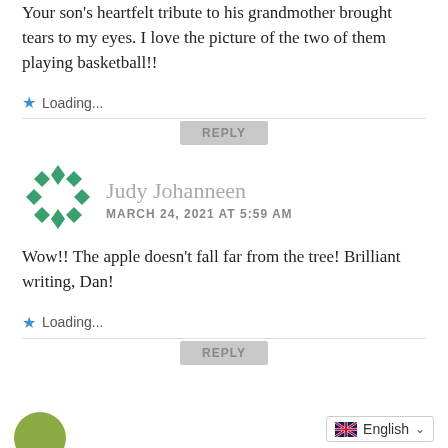Your son's heartfelt tribute to his grandmother brought tears to my eyes. I love the picture of the two of them playing basketball!!
Loading...
REPLY
[Figure (illustration): Green geometric diamond pattern avatar for Judy Johanneen]
Judy Johanneen
MARCH 24, 2021 AT 5:59 AM
Wow!! The apple doesn’t fall far from the tree! Brilliant writing, Dan!
Loading...
REPLY
[Figure (illustration): Partially visible avatar at bottom left]
English